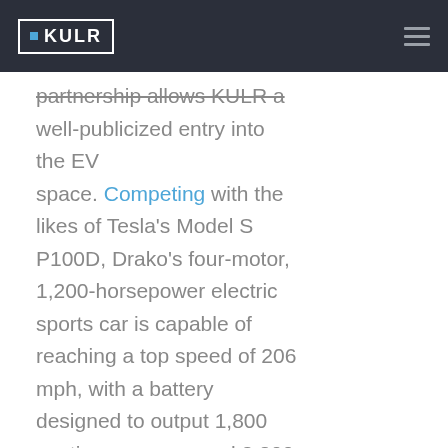KULR
partnership allows KULR a well-publicized entry into the EV space. Competing with the likes of Tesla's Model S P100D, Drako's four-motor, 1,200-horsepower electric sports car is capable of reaching a top speed of 206 mph, with a battery designed to output 1,800 continuous amps and 2,200 peak amps. The Drako GTE is currently priced at $1.25 million.